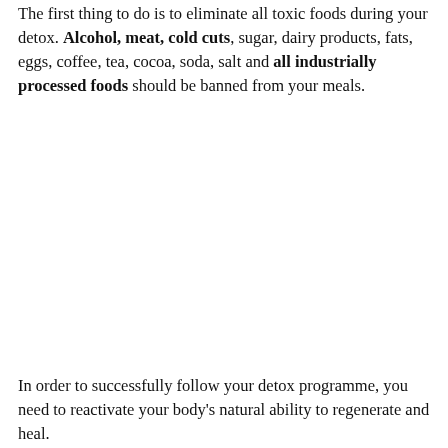The first thing to do is to eliminate all toxic foods during your detox. Alcohol, meat, cold cuts, sugar, dairy products, fats, eggs, coffee, tea, cocoa, soda, salt and all industrially processed foods should be banned from your meals.
In order to successfully follow your detox programme, you need to reactivate your body's natural ability to regenerate and heal.